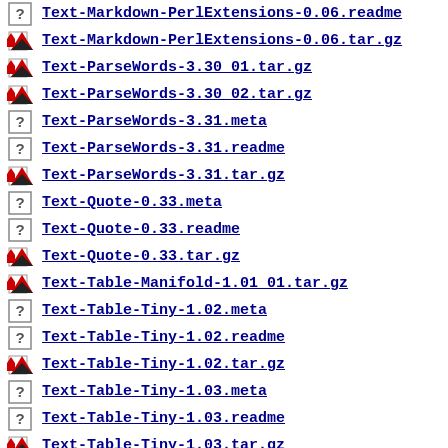Text-Markdown-PerlExtensions-0.06.readme
Text-Markdown-PerlExtensions-0.06.tar.gz
Text-ParseWords-3.30_01.tar.gz
Text-ParseWords-3.30_02.tar.gz
Text-ParseWords-3.31.meta
Text-ParseWords-3.31.readme
Text-ParseWords-3.31.tar.gz
Text-Quote-0.33.meta
Text-Quote-0.33.readme
Text-Quote-0.33.tar.gz
Text-Table-Manifold-1.01_01.tar.gz
Text-Table-Tiny-1.02.meta
Text-Table-Tiny-1.02.readme
Text-Table-Tiny-1.02.tar.gz
Text-Table-Tiny-1.03.meta
Text-Table-Tiny-1.03.readme
Text-Table-Tiny-1.03.tar.gz